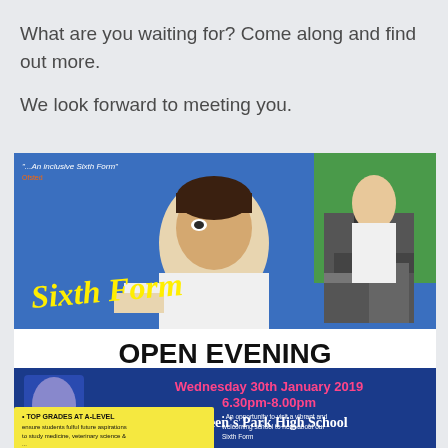What are you waiting for? Come along and find out more.
We look forward to meeting you.
[Figure (infographic): Sixth Form Open Evening advertisement for Queen's Park High School. Shows a student looking through a microscope. Text: '"...An inclusive Sixth Form" Ofsted', 'Sixth Form', 'OPEN EVENING', 'Wednesday 30th January 2019', '6.30pm-8.00pm', "QUEEN'S PARK HIGH SCHOOL", 'TOP GRADES AT A-LEVEL ensure students fulful future aspirations to study medicine, veterinary science & ...', 'An opportunity to visit a vibrant and welcoming school to hear about our Sixth Form']